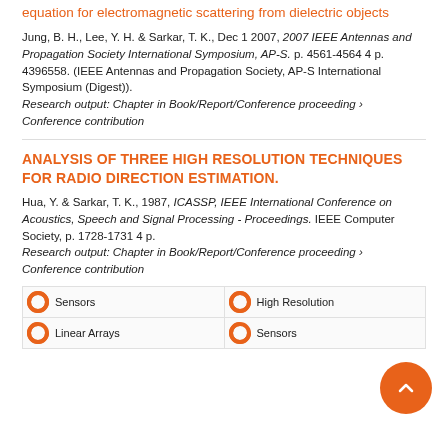equation for electromagnetic scattering from dielectric objects
Jung, B. H., Lee, Y. H. & Sarkar, T. K., Dec 1 2007, 2007 IEEE Antennas and Propagation Society International Symposium, AP-S. p. 4561-4564 4 p. 4396558. (IEEE Antennas and Propagation Society, AP-S International Symposium (Digest)). Research output: Chapter in Book/Report/Conference proceeding › Conference contribution
ANALYSIS OF THREE HIGH RESOLUTION TECHNIQUES FOR RADIO DIRECTION ESTIMATION.
Hua, Y. & Sarkar, T. K., 1987, ICASSP, IEEE International Conference on Acoustics, Speech and Signal Processing - Proceedings. IEEE Computer Society, p. 1728-1731 4 p. Research output: Chapter in Book/Report/Conference proceeding › Conference contribution
| Sensors | High Resolution |
| Linear Arrays | Sensors |